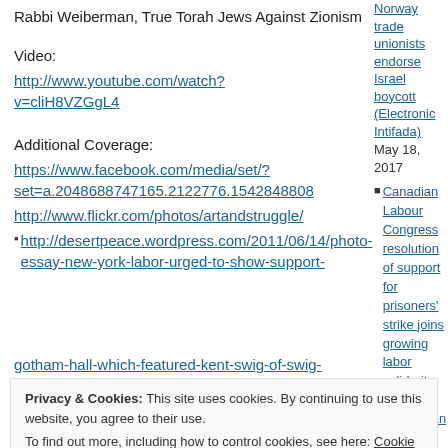Rabbi Weiberman, True Torah Jews Against Zionism
Video:
http://www.youtube.com/watch?v=cliH8VZGgL4
Additional Coverage:
https://www.facebook.com/media/set/?set=a.2048688747165.2122776.1542848808
http://www.flickr.com/photos/artandstruggle/
http://desertpeace.wordpress.com/2011/06/14/photo-essay-new-york-labor-urged-to-show-support-
Norway trade unionists endorse Israel boycott (Electronic Intifada) May 18, 2017
Canadian Labour Congress resolution of support for prisoners' strike joins growing labor solidarity for Palestinian freedom (Samidoun) May 14, 2017
Norway's Largest Trade Union Federation Endorses Full Boycott of Israel HP free zone
gotham-hall-which-featured-kent-swig-of-swig-
Privacy & Cookies: This site uses cookies. By continuing to use this website, you agree to their use.
To find out more, including how to control cookies, see here: Cookie Policy